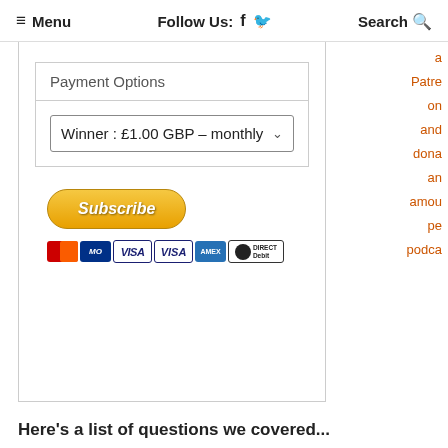≡ Menu   Follow Us: f 🐦   Search 🔍
Payment Options
Winner : £1.00 GBP – monthly
[Figure (screenshot): Subscribe button with PayPal styling (gold gradient, rounded), with payment card icons below: MasterCard, Maestro, VISA (x2), American Express, Direct Debit]
a Patre on and dona an amou pe podca
Here's a list of questions we covered...